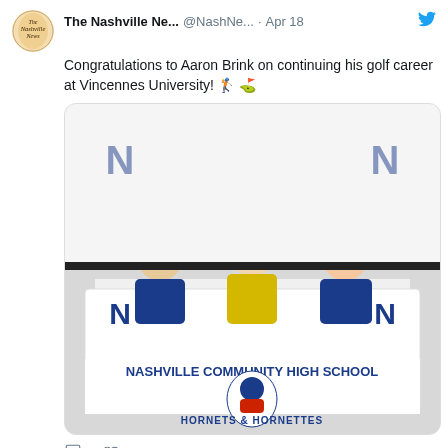The Nashville Ne... @NashNe... · Apr 18
Congratulations to Aaron Brink on continuing his golf career at Vincennes University! 🏌️ ⛳
[Figure (photo): Photo of Aaron Brink signing at a table with Nashville Community High School Hornets & Hornettes banner]
27 likes
The Nashville Ne... @NashNe... · Apr 18
Congratulations to Jordan Donato on continuing
HAVE SOME